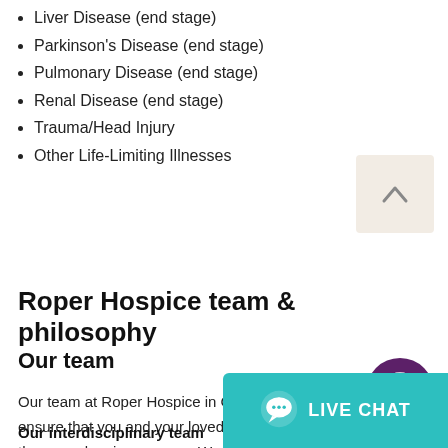Liver Disease (end stage)
Parkinson's Disease (end stage)
Pulmonary Disease (end stage)
Renal Disease (end stage)
Trauma/Head Injury
Other Life-Limiting Illnesses
[Figure (illustration): Scroll-to-top button with upward chevron arrow on beige background]
[Figure (logo): Accessibility icon button - person in circle on dark purple background]
Roper Hospice team & philosophy
Our team
Our team at Roper Hospice in Charleston, SC is here to ensure that you and your loved ones are actively involved in the care planning process. We are here to assist you in meeting your healthcare needs wherever “home” is.
Our interdisciplinary team includ
Doctors
[Figure (other): Live Chat button in teal/cyan color with chat bubble icon and LIVE CHAT text]